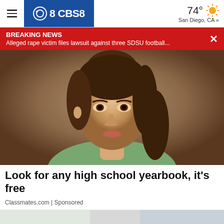CBS8 | 74° San Diego, CA »
BREAKING NEWS
Alleged rape victim files lawsuit against three SDSU football...
[Figure (photo): Vintage colorized portrait photo of a young woman with brown hair styled in a 1960s updo, wearing a light green top, looking upward slightly]
Look for any high school yearbook, it's free
Classmates.com | Sponsored
[Figure (photo): Partial view of a second article photo, showing the beginning of another image at the bottom of the page]